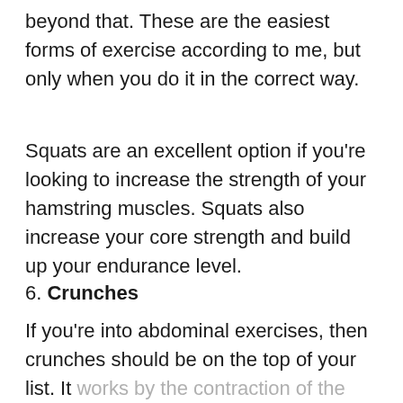beyond that. These are the easiest forms of exercise according to me, but only when you do it in the correct way.
Squats are an excellent option if you're looking to increase the strength of your hamstring muscles. Squats also increase your core strength and build up your endurance level.
6. Crunches
If you're into abdominal exercises, then crunches should be on the top of your list. It works by the contraction of the abdominal rectus muscles when you try to lift your upper